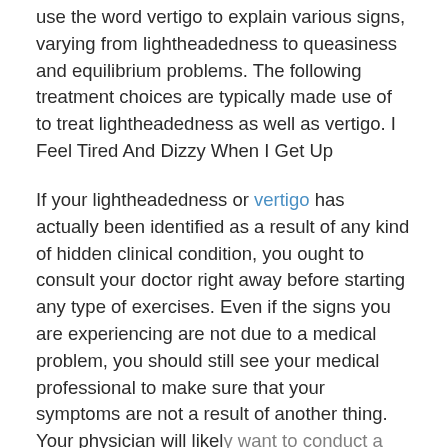use the word vertigo to explain various signs, varying from lightheadedness to queasiness and equilibrium problems. The following treatment choices are typically made use of to treat lightheadedness as well as vertigo. I Feel Tired And Dizzy When I Get Up
If your lightheadedness or vertigo has actually been identified as a result of any kind of hidden clinical condition, you ought to consult your doctor right away before starting any type of exercises. Even if the signs you are experiencing are not due to a medical problem, you should still see your medical professional to make sure that your symptoms are not a result of another thing. Your physician will likely want to conduct a